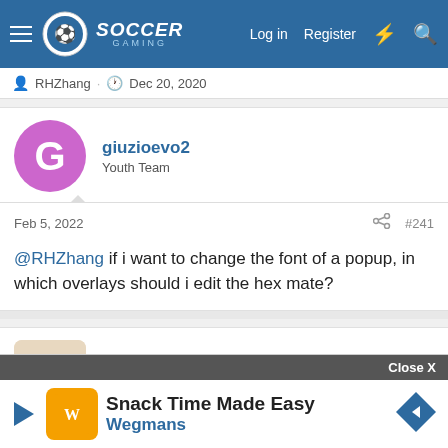Soccer Gaming — Log in  Register
RHZhang · Dec 20, 2020
giuzioevo2
Youth Team
Feb 5, 2022  #241
@RHZhang if i want to change the font of a popup, in which overlays should i edit the hex mate?
RHZhang
Club Supporter
Feb 16, 2022  #242
The past few weeks have been Chinese New Year, and I've been ba...
Today I...
[Figure (screenshot): Advertisement overlay: Snack Time Made Easy - Wegmans]